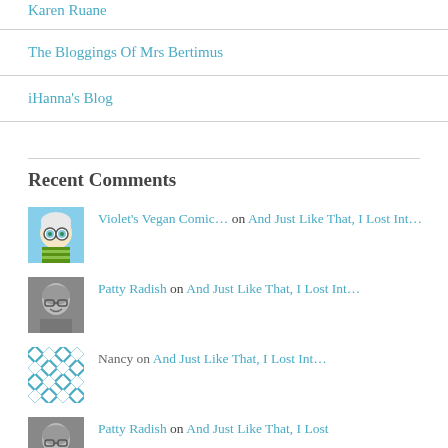Karen Ruane
The Bloggings Of Mrs Bertimus
iHanna's Blog
Recent Comments
Violet's Vegan Comic… on And Just Like That, I Lost Int…
Patty Radish on And Just Like That, I Lost Int…
Nancy on And Just Like That, I Lost Int…
Patty Radish on And Just Like That, I Lost